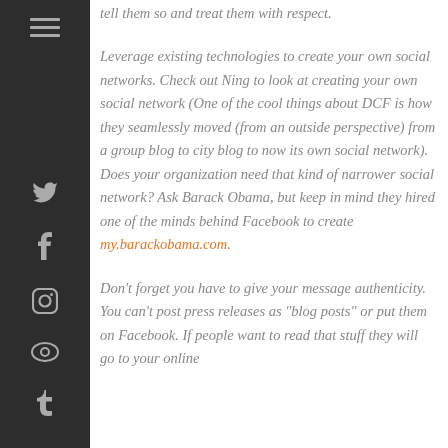tell them so and treat them with respect.
Leverage existing technologies to create your own social networks. Check out Ning to look at creating your own social network (One of the cool things about DCF is how they seamlessly moved (from an outside perspective) from a group blog to city blog to now its own social network). Does your organization need that kind of narrower social network? Ask Barack Obama, but keep in mind they hired one of the minds behind Facebook to create my.barackobama.com.
Don't forget you have to give your message authenticity. You can't post press releases as "blog posts" or put them on Facebook. If people want to read that stuff they will go to your online